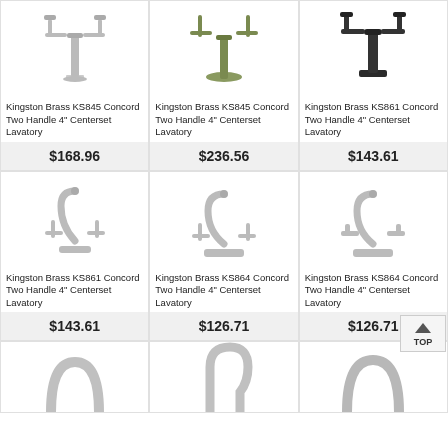[Figure (photo): Kingston Brass KS845 chrome two-handle faucet, top view]
Kingston Brass KS845 Concord Two Handle 4" Centerset Lavatory
$168.96
[Figure (photo): Kingston Brass KS845 olive/green two-handle faucet, top view]
Kingston Brass KS845 Concord Two Handle 4" Centerset Lavatory
$236.56
[Figure (photo): Kingston Brass KS861 dark oil-rubbed bronze two-handle faucet]
Kingston Brass KS861 Concord Two Handle 4" Centerset Lavatory
$143.61
[Figure (photo): Kingston Brass KS861 chrome two-handle 4" centerset lavatory faucet with cross handles]
Kingston Brass KS861 Concord Two Handle 4" Centerset Lavatory
$143.61
[Figure (photo): Kingston Brass KS864 chrome two-handle 4" centerset lavatory faucet with cross handles and rectangular base]
Kingston Brass KS864 Concord Two Handle 4" Centerset Lavatory
$126.71
[Figure (photo): Kingston Brass KS864 chrome two-handle 4" centerset lavatory faucet with lever handles]
Kingston Brass KS864 Concord Two Handle 4" Centerset Lavatory
$126.71
[Figure (photo): Chrome curved spout faucet, partial view]
[Figure (photo): Chrome tall gooseneck faucet, partial view]
[Figure (photo): Chrome curved single-handle faucet, partial view]